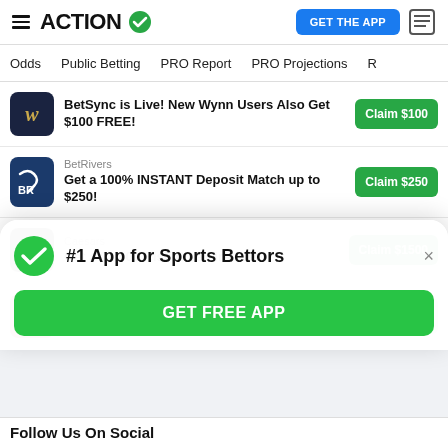ACTION (logo) — GET THE APP
Odds | Public Betting | PRO Report | PRO Projections
BetSync is Live! New Wynn Users Also Get $100 FREE! — Claim $100
BetRivers — Get a 100% INSTANT Deposit Match up to $250! — Claim $250
Caesars — Get a $1,500 Risk-Free First Bet! — Claim $1500
SI Sportsbook
#1 App for Sports Bettors — GET FREE APP
Follow Us On Social